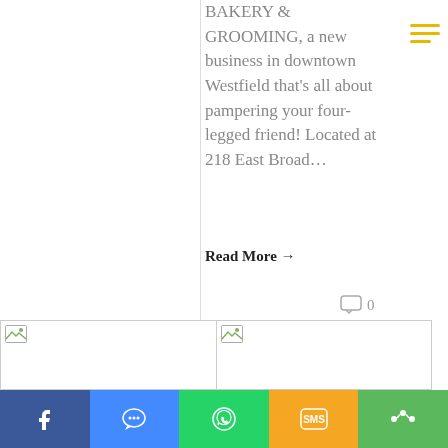BAKERY & GROOMING, a new business in downtown Westfield that's all about pampering your four-legged friend! Located at 218 East Broad...
Read More →
0
[Figure (photo): Two image placeholder tiles side by side with broken image icons]
Facebook | Messenger | WhatsApp | SMS | Share